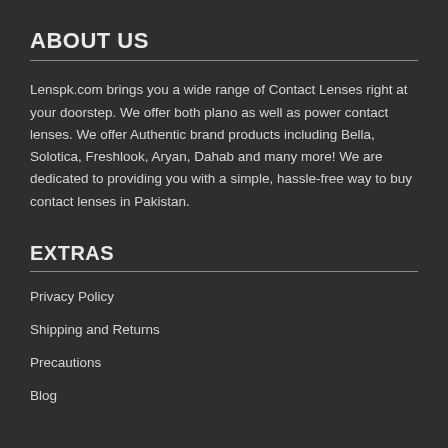ABOUT US
Lenspk.com brings you a wide range of Contact Lenses right at your doorstep. We offer both plano as well as power contact lenses. We offer Authentic brand products including Bella, Solotica, Freshlook, Aryan, Dahab and many more! We are dedicated to providing you with a simple, hassle-free way to buy contact lenses in Pakistan.
EXTRAS
Privacy Policy
Shipping and Returns
Precautions
Blog